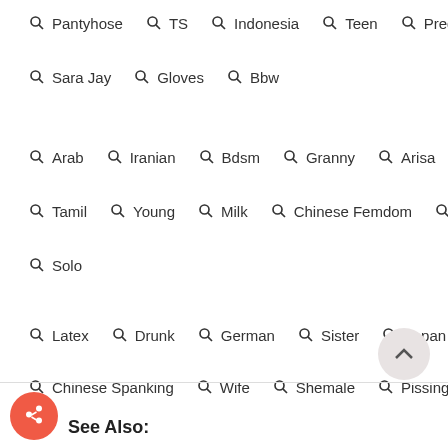Pantyhose  TS  Indonesia  Teen  Pregnant
Sara Jay  Gloves  Bbw
Arab  Iranian  Bdsm  Granny  Arisa  Teacher
Tamil  Young  Milk  Chinese Femdom  Sexmex
Solo
Latex  Drunk  German  Sister  Japan
Chinese Spanking  Wife  Shemale  Pissing
Family  Bus  Casting
See Also: